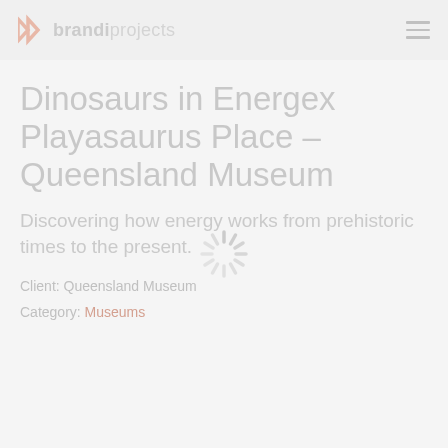brandiprojects
Dinosaurs in Energex Playasaurus Place – Queensland Museum
Discovering how energy works from prehistoric times to the present.
Client: Queensland Museum
Category: Museums